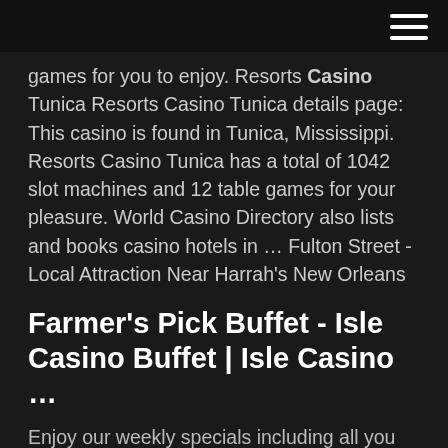games for you to enjoy. Resorts Casino Tunica Resorts Casino Tunica details page: This casino is found in Tunica, Mississippi. Resorts Casino Tunica has a total of 1042 slot machines and 12 table games for your pleasure. World Casino Directory also lists and books casino hotels in … Fulton Street - Local Attraction Near Harrah's New Orleans
Farmer's Pick Buffet - Isle Casino Buffet | Isle Casino …
Enjoy our weekly specials including all you can eat seafood buffets and steak nights! Plus, there's no better way to spend your Sunday than at our brunch buffet.Our Oyster & Local Catch buffet on Thursday nights now features All-You-Can-Eat crawfish! Come feast on the freshest, locally-